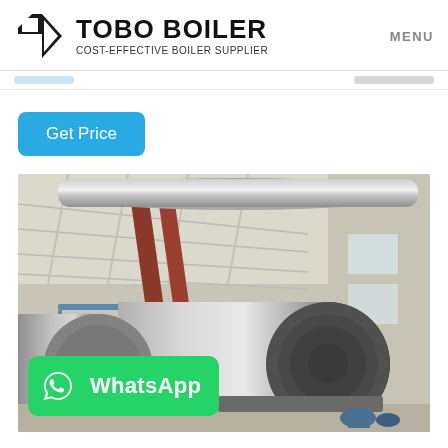TOBO BOILER — COST-EFFECTIVE BOILER SUPPLIER | MENU
Get Price
[Figure (photo): Industrial boiler installation inside a factory building. Large cylindrical silver/metallic horizontal boilers are shown with red pipes running along the ceiling, blue metal walkways and ladders, and white structural ceiling. A WhatsApp contact button overlay is visible at the bottom left of the image.]